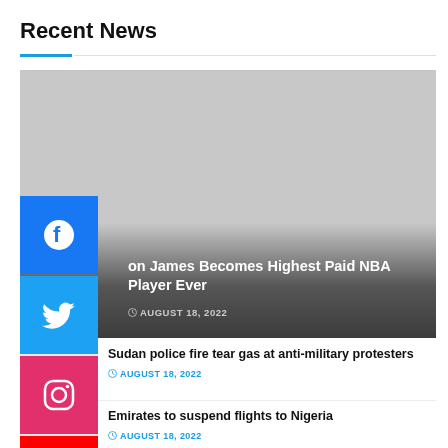Recent News
[Figure (screenshot): Featured news card with dark gradient overlay showing headline 'LeBron James Becomes Highest Paid NBA Player Ever' dated AUGUST 18, 2022, with Facebook, Twitter, Instagram, and YouTube social media buttons on the left side]
LeBron James Becomes Highest Paid NBA Player Ever
AUGUST 18, 2022
Sudan police fire tear gas at anti-military protesters
AUGUST 18, 2022
Emirates to suspend flights to Nigeria
AUGUST 18, 2022